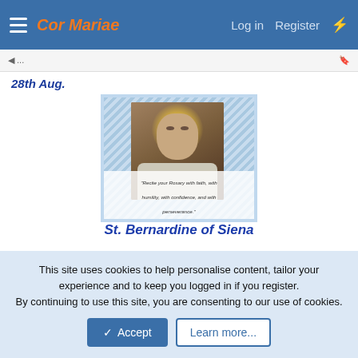Cor Mariae  Log in  Register
28th Aug.
[Figure (illustration): Portrait image of St. Bernardine of Siena, an elderly Franciscan friar with a halo, with a quote: 'Recite your Rosary with faith, with humility, with confidence, and with perseverance.' Set against a blue diagonal-striped background.]
St. Bernardine of Siena
ON THE FRUITS OF HUMILITY
This site uses cookies to help personalise content, tailor your experience and to keep you logged in if you register.
By continuing to use this site, you are consenting to our use of cookies.